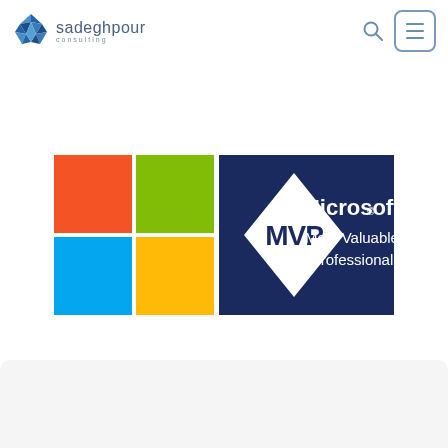[Figure (logo): Sadeghpour Consulting logo: blue geometric umbrella-like icon with text 'sadeghpour' and 'consulting' underneath]
[Figure (logo): Microsoft MVP (Most Valuable Professional) badge logo with Microsoft four-color squares on left and navy blue diamond badge with 'MVP' text, 'Microsoft® Most Valuable Professional' on the right]